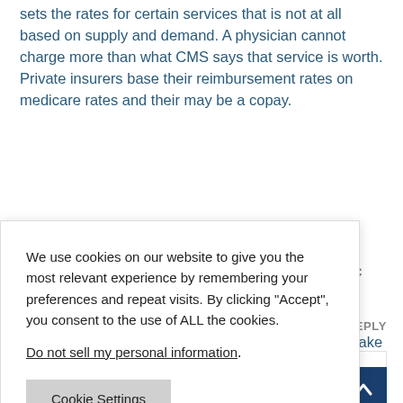sets the rates for certain services that is not at all based on supply and demand. A physician cannot charge more than what CMS says that service is worth. Private insurers base their reimbursement rates on medicare rates and their may be a copay.
omics into the lasik, cosmetic
nts 18% of urpose is to make ent holding back
[Figure (screenshot): Cookie consent modal dialog with text: 'We use cookies on our website to give you the most relevant experience by remembering your preferences and repeat visits. By clicking "Accept", you consent to the use of ALL the cookies.' followed by 'Do not sell my personal information.' link. Buttons: Cookie Settings (gray), Accept (green), Reject All (blue).]
REPLY
[Figure (illustration): Blue square avatar with white user silhouette icon]
[Figure (illustration): Dark blue scroll-to-top button with up arrow]
Brian